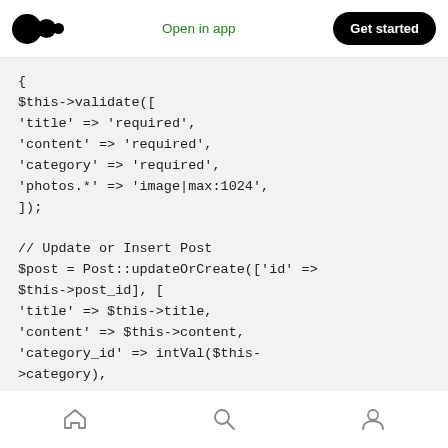Medium logo | Open in app | Get started
{
$this->validate([
'title' => 'required',
'content' => 'required',
'category' => 'required',
'photos.*' => 'image|max:1024',
]);

// Update or Insert Post
$post = Post::updateOrCreate(['id' =>
$this->post_id], [
'title' => $this->title,
'content' => $this->content,
'category_id' => intVal($this-
>category),
'author_id' => Auth::user()->id,
]);
home | search | profile